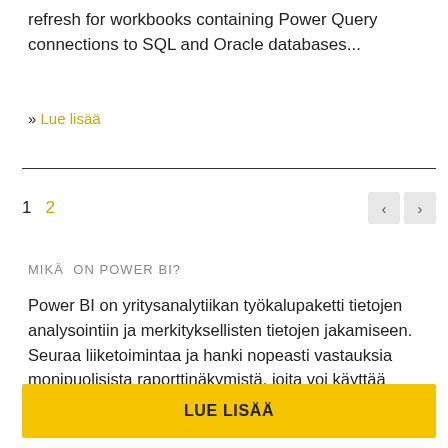refresh for workbooks containing Power Query connections to SQL and Oracle databases...
» Lue lisää
1  2  < >
MIKÄ ON POWER BI?
Power BI on yritysanalytiikan työkalupaketti tietojen analysointiin ja merkityksellisten tietojen jakamiseen. Seuraa liiketoimintaa ja hanki nopeasti vastauksia monipuolisista raporttinäkymistä, joita voi käyttää kaikissa laitteissa.
LUE LISÄÄ